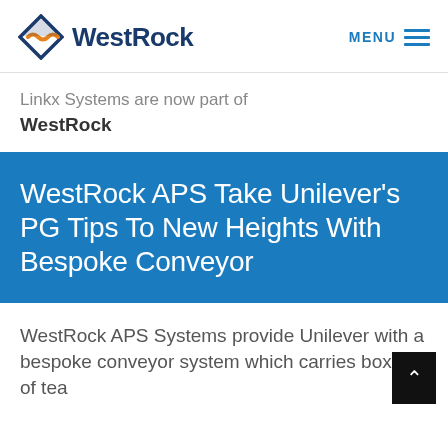WestRock MENU
Linkx Systems are now part of WestRock
WestRock APS Take Unilever's PG Tips To New Heights With Bespoke Conveyor
WestRock APS Systems provide Unilever with a bespoke conveyor system which carries boxes of tea